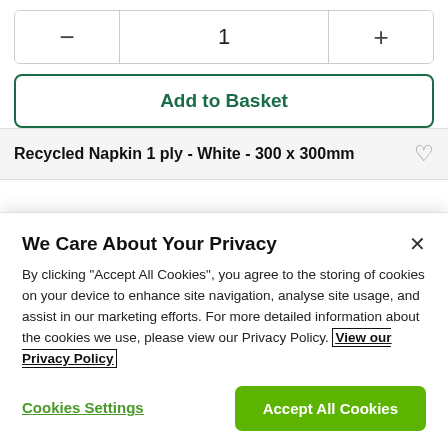[Figure (screenshot): Quantity selector with minus button, value '1', and plus button]
[Figure (screenshot): Add to Basket button with green border and green text]
Recycled Napkin 1 ply - White - 300 x 300mm
We Care About Your Privacy
By clicking "Accept All Cookies", you agree to the storing of cookies on your device to enhance site navigation, analyse site usage, and assist in our marketing efforts. For more detailed information about the cookies we use, please view our Privacy Policy. View our Privacy Policy
Cookies Settings
Accept All Cookies